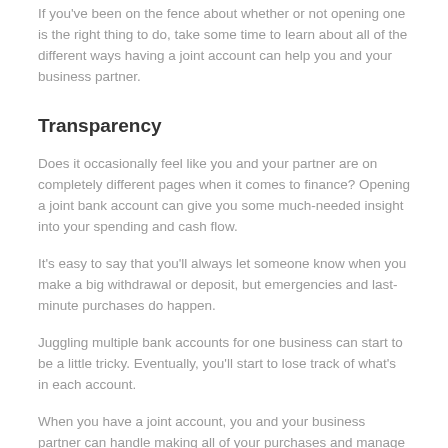If you've been on the fence about whether or not opening one is the right thing to do, take some time to learn about all of the different ways having a joint account can help you and your business partner.
Transparency
Does it occasionally feel like you and your partner are on completely different pages when it comes to finance? Opening a joint bank account can give you some much-needed insight into your spending and cash flow.
It's easy to say that you'll always let someone know when you make a big withdrawal or deposit, but emergencies and last-minute purchases do happen.
Juggling multiple bank accounts for one business can start to be a little tricky. Eventually, you'll start to lose track of what's in each account.
When you have a joint account, you and your business partner can handle making all of your purchases and manage all of your business expenses out of one account. It'll make paying bills and